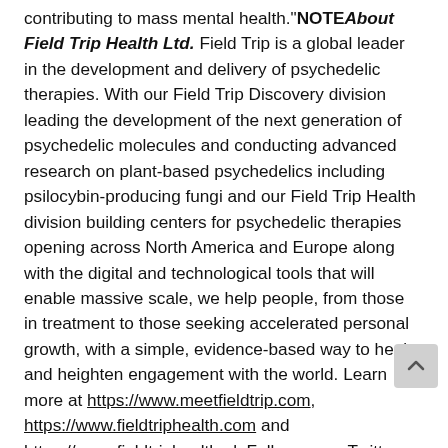contributing to mass mental health."NOTE About Field Trip Health Ltd. Field Trip is a global leader in the development and delivery of psychedelic therapies. With our Field Trip Discovery division leading the development of the next generation of psychedelic molecules and conducting advanced research on plant-based psychedelics including psilocybin-producing fungi and our Field Trip Health division building centers for psychedelic therapies opening across North America and Europe along with the digital and technological tools that will enable massive scale, we help people, from those in treatment to those seeking accelerated personal growth, with a simple, evidence-based way to heal and heighten engagement with the world. Learn more at https://www.meetfieldtrip.com, https://www.fieldtriphealth.com and https://www.fieldtriphealth.nl. Follow us on Twitter and Instagram: